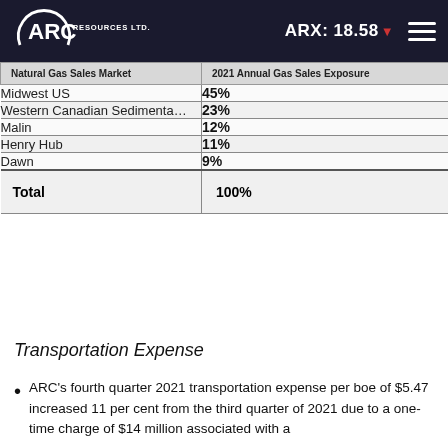ARC Resources Ltd. | ARX: 18.58
| Natural Gas Sales Market | 2021 Annual Gas Sales Exposure |
| --- | --- |
| Midwest US | 45% |
| Western Canadian Sedimentary | 23% |
| Malin | 12% |
| Henry Hub | 11% |
| Dawn | 9% |
| Total | 100% |
Transportation Expense
ARC's fourth quarter 2021 transportation expense per boe of $5.47 increased 11 per cent from the third quarter of 2021 due to a one-time charge of $14 million associated with a